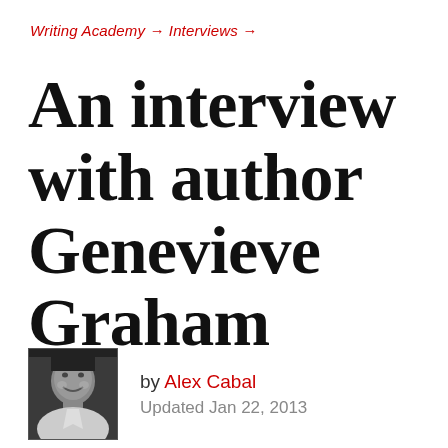Writing Academy → Interviews →
An interview with author Genevieve Graham
[Figure (photo): Black and white portrait photo of Alex Cabal, smiling man]
by Alex Cabal
Updated Jan 22, 2013